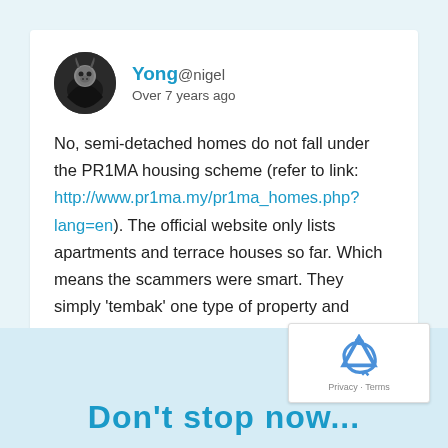[Figure (illustration): User avatar circle with dark fantasy/warrior illustration]
Yong@nigel
Over 7 years ago
No, semi-detached homes do not fall under the PR1MA housing scheme (refer to link: http://www.pr1ma.my/pr1ma_homes.php?lang=en). The official website only lists apartments and terrace houses so far. Which means the scammers were smart. They simply 'tembak' one type of property and people fell for it. Next time we should double check first before making any assumptions.
👍 Like  ↩ Reply
Don't stop now...